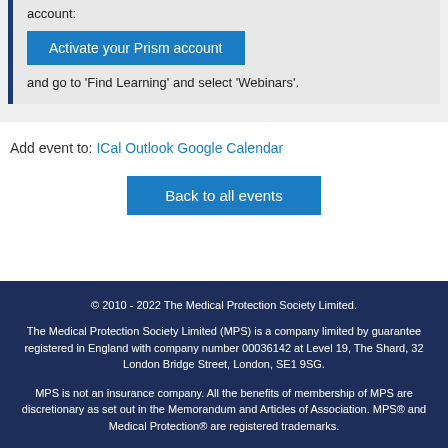account:
Activate your Prism account
and go to 'Find Learning' and select 'Webinars'.
Add event to: ICal Outlook Google Calendar
Back to all events
© 2010 - 2022 The Medical Protection Society Limited.

The Medical Protection Society Limited (MPS) is a company limited by guarantee registered in England with company number 00036142 at Level 19, The Shard, 32 London Bridge Street, London, SE1 9SG.

MPS is not an insurance company. All the benefits of membership of MPS are discretionary as set out in the Memorandum and Articles of Association. MPS® and Medical Protection® are registered trademarks.